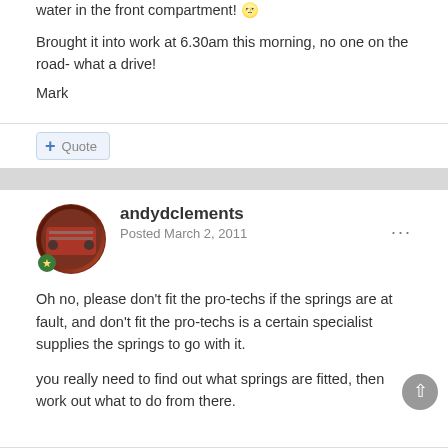water in the front compartment! 🌝
Brought it into work at 6.30am this morning, no one on the road- what a drive!
Mark
Quote
andydclements
Posted March 2, 2011
Oh no, please don't fit the pro-techs if the springs are at fault, and don't fit the pro-techs is a certain specialist supplies the springs to go with it.
you really need to find out what springs are fitted, then work out what to do from there.